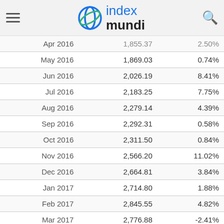index mundi
| Month | Value | Change |
| --- | --- | --- |
| Apr 2016 | 1,855.37 | 2.50% |
| May 2016 | 1,869.03 | 0.74% |
| Jun 2016 | 2,026.19 | 8.41% |
| Jul 2016 | 2,183.25 | 7.75% |
| Aug 2016 | 2,279.14 | 4.39% |
| Sep 2016 | 2,292.31 | 0.58% |
| Oct 2016 | 2,311.50 | 0.84% |
| Nov 2016 | 2,566.20 | 11.02% |
| Dec 2016 | 2,664.81 | 3.84% |
| Jan 2017 | 2,714.80 | 1.88% |
| Feb 2017 | 2,845.55 | 4.82% |
| Mar 2017 | 2,776.88 | -2.41% |
| Apr 2017 | 2,614.92 | -5.83% |
| May 2017 | 2,590.21 | -0.94% |
| Jun 2017 | 2,573.40 | -0.65% |
| Jul 2017 | 2,787.19 | 8.31% |